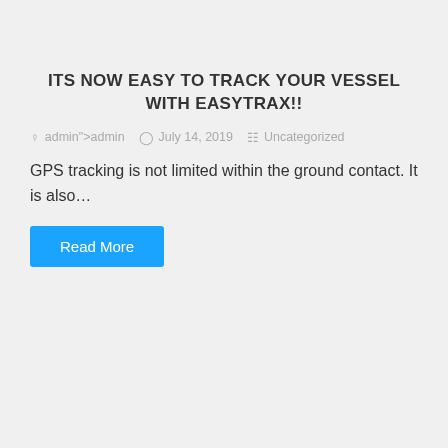ITS NOW EASY TO TRACK YOUR VESSEL WITH EASYTRAX!!
admin">admin   July 14, 2019   Uncategorized
GPS tracking is not limited within the ground contact. It is also…
Read More